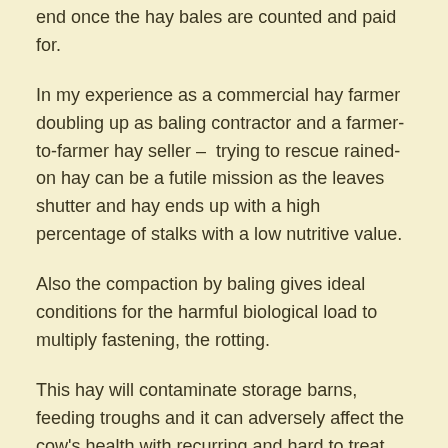end once the hay bales are counted and paid for.
In my experience as a commercial hay farmer doubling up as baling contractor and a farmer-to-farmer hay seller –  trying to rescue rained-on hay can be a futile mission as the leaves shutter and hay ends up with a high percentage of stalks with a low nutritive value.
Also the compaction by baling gives ideal conditions for the harmful biological load to multiply fastening, the rotting.
This hay will contaminate storage barns, feeding troughs and it can adversely affect the cow's health with recurring and hard to treat infections which lead to decrease in milk yield or even death.